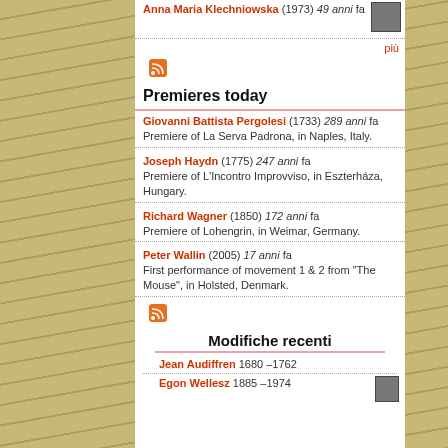Anna Maria Klechniowska (1973) 49 anni fa
più
Premieres today
Giovanni Battista Pergolesi (1733) 289 anni fa
Premiere of La Serva Padrona, in Naples, Italy.
Joseph Haydn (1775) 247 anni fa
Premiere of L'Incontro Improvviso, in Eszterháza, Hungary.
Richard Wagner (1850) 172 anni fa
Premiere of Lohengrin, in Weimar, Germany.
Peter Wallin (2005) 17 anni fa
First performance of movement 1 & 2 from "The Mouse", in Holsted, Denmark.
Modifiche recenti
Jean Audiffren 1680 –1762
Egon Wellesz 1885 –1974